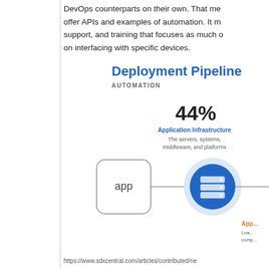DevOps counterparts on their own. That me offer APIs and examples of automation. It m support, and training that focuses as much on interfacing with specific devices.
[Figure (infographic): Deployment Pipeline Automation infographic showing 44% statistic for Application Infrastructure (The servers, systems, middleware, and platforms), with an 'app' box connected by a line to a blue circle containing a server icon, and a partially visible orange label below reading 'App...' with text 'Loa... comp...']
https://www.sdxcentral.com/articles/contributed/ne